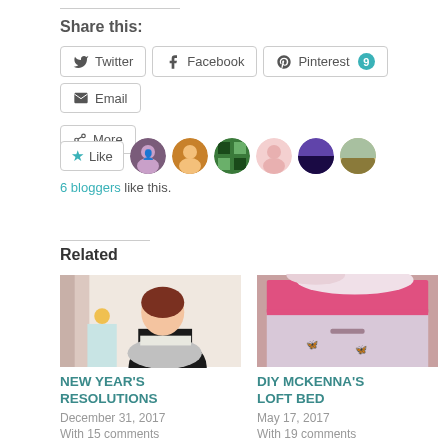Share this:
Twitter  Facebook  Pinterest 9  Email  More
[Figure (other): Like button with 6 avatar thumbnails of bloggers who liked the post]
6 bloggers like this.
Related
[Figure (photo): American Girl doll in black and silver dress in a room with pink accents]
NEW YEAR'S RESOLUTIONS
December 31, 2017
With 15 comments
[Figure (photo): Pink dresser or chest with white drawer, DIY McKenna's Loft Bed thumbnail]
DIY MCKENNA'S LOFT BED
May 17, 2017
With 19 comments